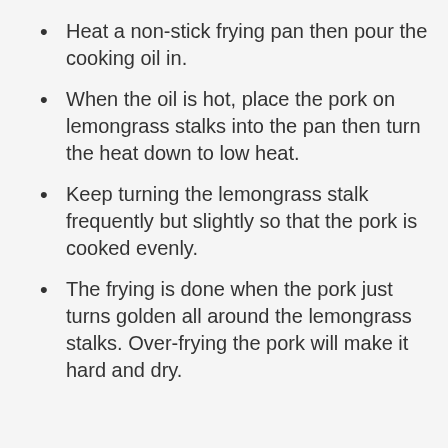Heat a non-stick frying pan then pour the cooking oil in.
When the oil is hot, place the pork on lemongrass stalks into the pan then turn the heat down to low heat.
Keep turning the lemongrass stalk frequently but slightly so that the pork is cooked evenly.
The frying is done when the pork just turns golden all around the lemongrass stalks. Over-frying the pork will make it hard and dry.